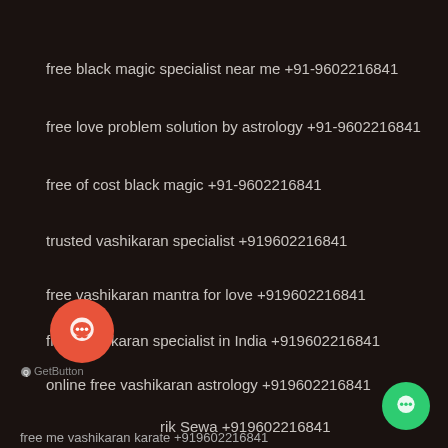free black magic specialist near me +91-9602216841
free love problem solution by astrology +91-9602216841
free of cost black magic +91-9602216841
trusted vashikaran specialist +919602216841
free vashikaran mantra for love +919602216841
free vashikaran specialist in India +919602216841
online free vashikaran astrology +919602216841
f...rik Sewa +919602216841
free me vashikaran karate +919602216841